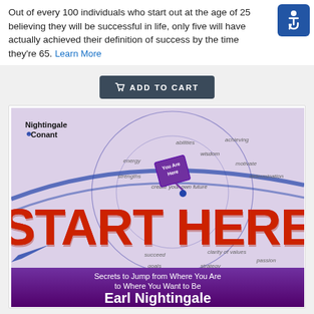Out of every 100 individuals who start out at the age of 25 believing they will be successful in life, only five will have actually achieved their definition of success by the time they're 65. Learn More
[Figure (other): Blue square accessibility icon with white wheelchair user symbol]
ADD TO CART
[Figure (illustration): Book cover for 'Start Here: Secrets to Jump from Where You Are to Where You Want to Be' by Earl Nightingale, published by Nightingale Conant. Features a globe/map background with words like abilities, wisdom, energy, motivation, determination, strengths, create your own future, succeed, clarity of values, goals, strategy, passion. A purple 'You Are Here' tag with arrow. Large red text 'START HERE'. Bottom purple band with white subtitle text and author name.]